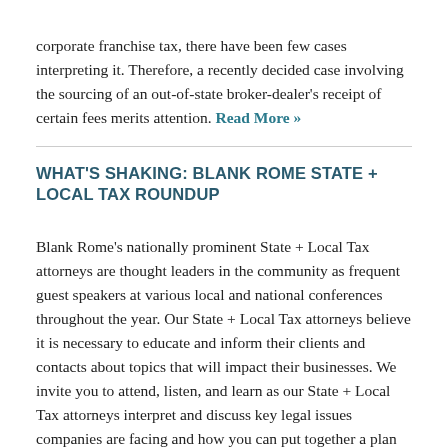corporate franchise tax, there have been few cases interpreting it. Therefore, a recently decided case involving the sourcing of an out-of-state broker-dealer's receipt of certain fees merits attention. Read More »
WHAT'S SHAKING: BLANK ROME STATE + LOCAL TAX ROUNDUP
Blank Rome's nationally prominent State + Local Tax attorneys are thought leaders in the community as frequent guest speakers at various local and national conferences throughout the year. Our State + Local Tax attorneys believe it is necessary to educate and inform their clients and contacts about topics that will impact their businesses. We invite you to attend, listen, and learn as our State + Local Tax attorneys interpret and discuss key legal issues companies are facing and how you can put together a plan of action to mitigate risk and advance your business in accordance with state and local tax laws. Read More»